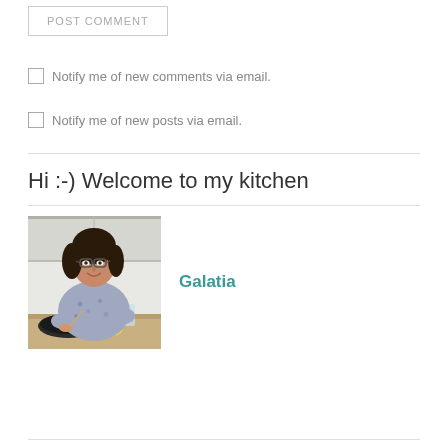POST COMMENT
Notify me of new comments via email.
Notify me of new posts via email.
Hi :-) Welcome to my kitchen
[Figure (photo): Woman with dark hair and glasses smiling in a kitchen, leaning over a plate of food. Name label 'Galatia' appears in teal to the right.]
Galatia